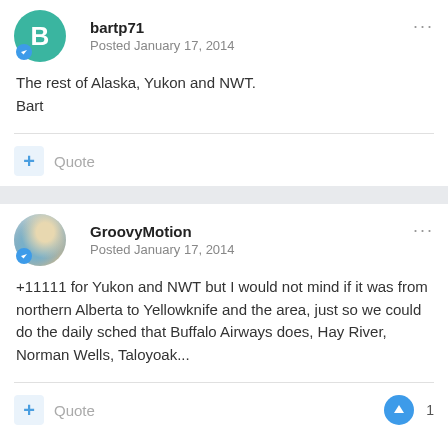bartp71
Posted January 17, 2014
The rest of Alaska, Yukon and NWT.
Bart
Quote
GroovyMotion
Posted January 17, 2014
+11111 for Yukon and NWT but I would not mind if it was from northern Alberta to Yellowknife and the area, just so we could do the daily sched that Buffalo Airways does, Hay River, Norman Wells, Taloyoak...
Quote